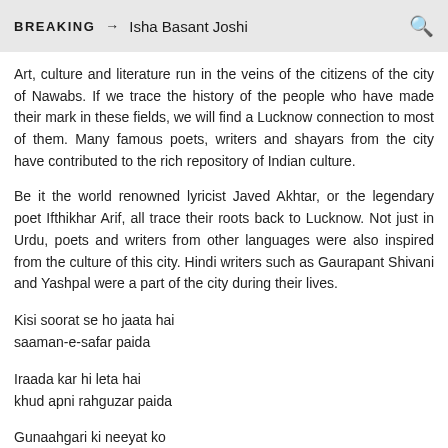BREAKING → Isha Basant Joshi
Art, culture and literature run in the veins of the citizens of the city of Nawabs. If we trace the history of the people who have made their mark in these fields, we will find a Lucknow connection to most of them. Many famous poets, writers and shayars from the city have contributed to the rich repository of Indian culture.
Be it the world renowned lyricist Javed Akhtar, or the legendary poet Ifthikhar Arif, all trace their roots back to Lucknow. Not just in Urdu, poets and writers from other languages were also inspired from the culture of this city. Hindi writers such as Gaurapant Shivani and Yashpal were a part of the city during their lives.
Kisi soorat se ho jaata hai
saaman-e-safar paida
Iraada kar hi leta hai
khud apni rahguzar paida
Gunaahgari ki neeyat ko
gunaahgari nahi kehte